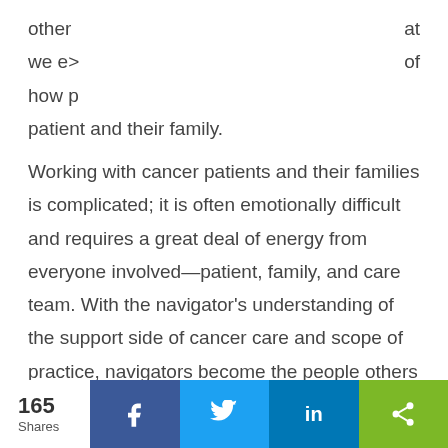other … at
we e… of
how p…
patient and their family.
Working with cancer patients and their families is complicated; it is often emotionally difficult and requires a great deal of energy from everyone involved—patient, family, and care team. With the navigator's understanding of the support side of cancer care and scope of practice, navigators become the people others look to for compassion. For this reason, navigators are uniquely positioned to positively impact other members of our care